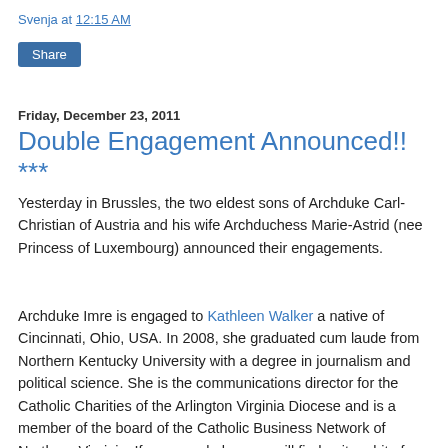Svenja at 12:15 AM
Share
Friday, December 23, 2011
Double Engagement Announced!! ***
Yesterday in Brussles, the two eldest sons of Archduke Carl-Christian of Austria and his wife Archduchess Marie-Astrid (nee Princess of Luxembourg) announced their engagements.
Archduke Imre is engaged to Kathleen Walker a native of Cincinnati, Ohio, USA. In 2008, she graduated cum laude from Northern Kentucky University with a degree in journalism and political science. She is the communications director for the Catholic Charities of the Arlington Virginia Diocese and is a member of the board of the Catholic Business Network of Northern Virginia. If you google her you will find quite a bit of information, as she is a prominent Pro-